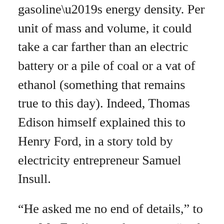gasoline's energy density. Per unit of mass and volume, it could take a car farther than an electric battery or a pile of coal or a vat of ethanol (something that remains true to this day). Indeed, Thomas Edison himself explained this to Henry Ford, in a story told by electricity entrepreneur Samuel Insull.
“He asked me no end of details,” to use Mr. Ford’s own language, “and I sketched everything for him; for I have always found that I could convey an idea quicker by sketching than by just describing it.” When the conversation ended, Mr. Edison brought his fist down on the table with a bang, and said: “Young man, that’s the thing; you have it. Keep at it. Electric cars